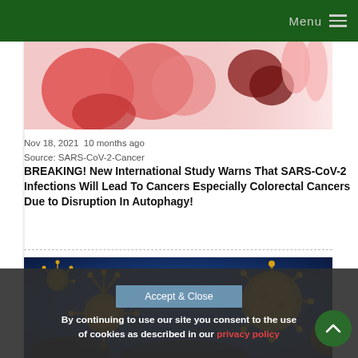Menu
[Figure (photo): Medical illustration showing colorectal/intestinal tissue with pink and red cellular structures]
Nov 18, 2021  10 months ago
Source: SARS-CoV-2-Cancer
BREAKING! New International Study Warns That SARS-CoV-2 Infections Will Lead To Cancers Especially Colorectal Cancers Due to Disruption In Autophagy!
[Figure (photo): Scientific illustration of coronavirus particles and antibodies shown in gold/yellow color against a blue background]
By continuing to use our site you consent to the use of cookies as described in our privacy policy